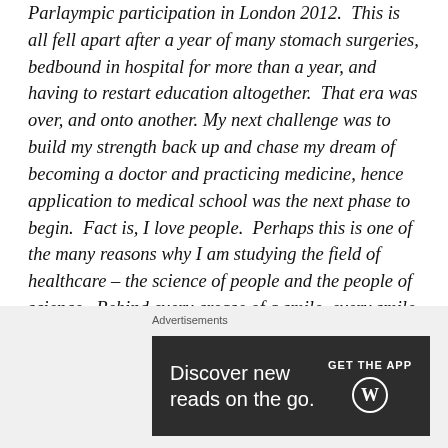Parlaympic participation in London 2012. This is all fell apart after a year of many stomach surgeries, bedbound in hospital for more than a year, and having to restart education altogether. That era was over, and onto another. My next challenge was to build my strength back up and chase my dream of becoming a doctor and practicing medicine, hence application to medical school was the next phase to begin. Fact is, I love people. Perhaps this is one of the many reasons why I am studying the field of healthcare – the science of people and the people of science. Behind every crease of a smile, every smile of a crease, there is an
Advertisements
[Figure (other): Dark advertisement banner reading 'Discover new reads on the go.' with GET THE APP button and WordPress logo]